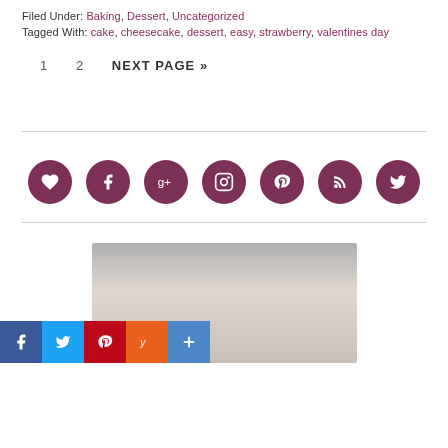Filed Under: Baking, Dessert, Uncategorized
Tagged With: cake, cheesecake, dessert, easy, strawberry, valentines day
1   2   NEXT PAGE »
[Figure (other): Social media icon buttons row: heart/Bloglovin, Facebook, Google+, Instagram, Pinterest, RSS, Twitter — all dark mauve/purple circles with white icons]
[Figure (photo): Photo of a woman with dark hair and glasses, cropped to show top of head and face with glasses; gray/blurred background]
[Figure (other): Social share bar at bottom left: Facebook (blue), Twitter (light blue), Pinterest (red), Yummly (orange), More/Plus (blue) square buttons with white icons]